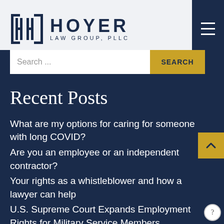[Figure (logo): Hoyer Law Group PLLC logo with stylized HH icon and text]
Search ...
Recent Posts
What are my options for caring for someone with long COVID?
Are you an employee or an independent contractor?
Your rights as a whistleblower and how a lawyer can help
U.S. Supreme Court Expands Employment Rights for Military Service Members